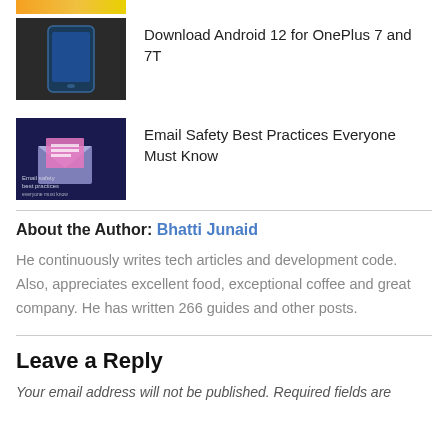[Figure (photo): Partial top image strip showing orange/yellow color, cropped at top of page]
Download Android 12 for OnePlus 7 and 7T
Email Safety Best Practices Everyone Must Know
About the Author: Bhatti Junaid
He continuously writes tech articles and development code. Also, appreciates excellent food, exceptional coffee and great company. He has written 266 guides and other posts.
Leave a Reply
Your email address will not be published. Required fields are